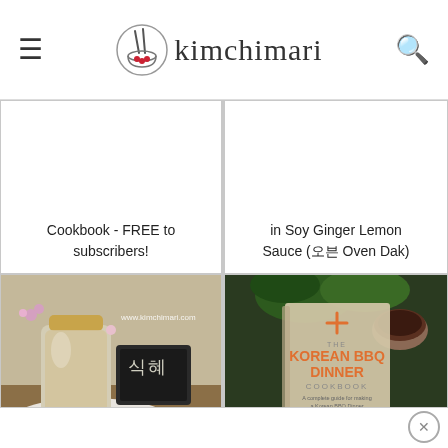kimchimari
Cookbook - FREE to subscribers!
in Soy Ginger Lemon Sauce (오븐 Oven Dak)
[Figure (photo): Sweet rice punch (Sikhye) served in a mason jar with Korean text sign, white cloth, flowers and rice visible]
Sweet Rice Punch (Sikhye 식혜)
[Figure (photo): The Korean BBQ Dinner Cookbook cover showing grilled meat, vegetables, and sauce bowl]
Korean BBQ Dinner Cookbook - FREE to subscribers!